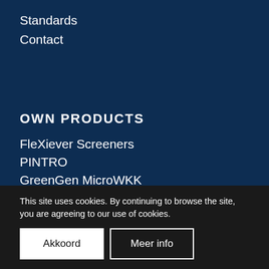Standards
Contact
OWN PRODUCTS
FleXiever Screeners
PINTRO
GreenGen MicroWKK
WIWAM
Tree Grader
MSPG Steam...
Mobile roasting...
This site uses cookies. By continuing to browse the site, you are agreeing to our use of cookies.
Akkoord
Meer info